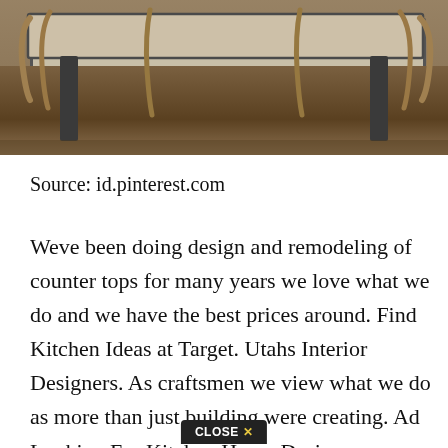[Figure (photo): Photograph of a dining table with wooden chairs, viewed from the side. The table has a dark metal frame and a light concrete or stone top. Multiple wooden chairs with organic branch-like construction are visible.]
Source: id.pinterest.com
Weve been doing design and remodeling of counter tops for many years we love what we do and we have the best prices around. Find Kitchen Ideas at Target. Utahs Interior Designers. As craftsmen we view what we do as more than just building were creating. Ad Looking For Kitchen Home Design.
CLOSE ✕